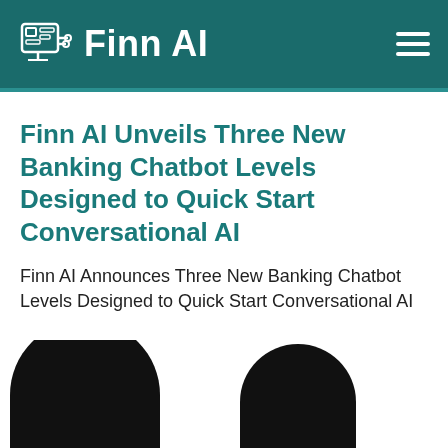Finn AI
Finn AI Unveils Three New Banking Chatbot Levels Designed to Quick Start Conversational AI
Finn AI Announces Three New Banking Chatbot Levels Designed to Quick Start Conversational AI
READ ANNOUCEMENT
[Figure (illustration): Two large black arch/horseshoe shapes at the bottom of the page, partially cropped]